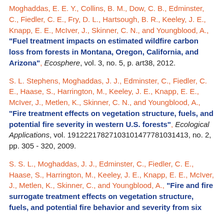Moghaddas, E. E. Y., Collins, B. M., Dow, C. B., Edminster, C., Fiedler, C. E., Fry, D. L., Hartsough, B. R., Keeley, J. E., Knapp, E. E., McIver, J., Skinner, C. N., and Youngblood, A., "Fuel treatment impacts on estimated wildfire carbon loss from forests in Montana, Oregon, California, and Arizona", Ecosphere, vol. 3, no. 5, p. art38, 2012.
S. L. Stephens, Moghaddas, J. J., Edminster, C., Fiedler, C. E., Haase, S., Harrington, M., Keeley, J. E., Knapp, E. E., McIver, J., Metlen, K., Skinner, C. N., and Youngblood, A., "Fire treatment effects on vegetation structure, fuels, and potential fire severity in western U.S. forests", Ecological Applications, vol. 19122217827103101477781031413, no. 2, pp. 305 - 320, 2009.
S. S. L., Moghaddas, J. J., Edminster, C., Fiedler, C. E., Haase, S., Harrington, M., Keeley, J. E., Knapp, E. E., McIver, J., Metlen, K., Skinner, C., and Youngblood, A., "Fire and fire surrogate treatment effects on vegetation structure, fuels, and potential fire behavior and severity from six